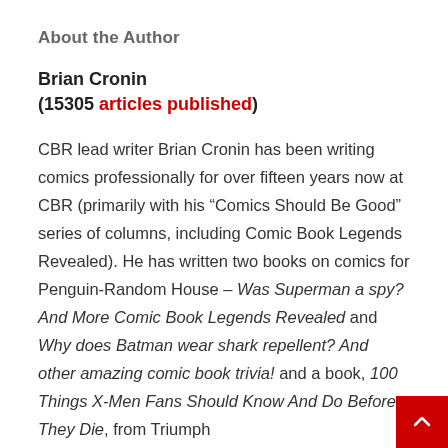About the Author
Brian Cronin
(15305 articles published)
CBR lead writer Brian Cronin has been writing comics professionally for over fifteen years now at CBR (primarily with his “Comics Should Be Good” series of columns, including Comic Book Legends Revealed). He has written two books on comics for Penguin-Random House – Was Superman a spy? And More Comic Book Legends Revealed and Why does Batman wear shark repellent? And other amazing comic book trivia! and a book, 100 Things X-Men Fans Should Know And Do Before They Die, from Triumph